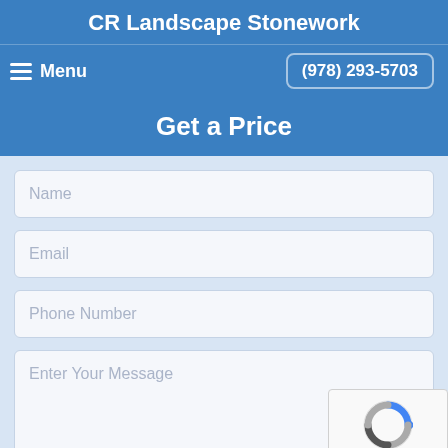CR Landscape Stonework
Menu  (978) 293-5703
Get a Price
Name
Email
Phone Number
Enter Your Message